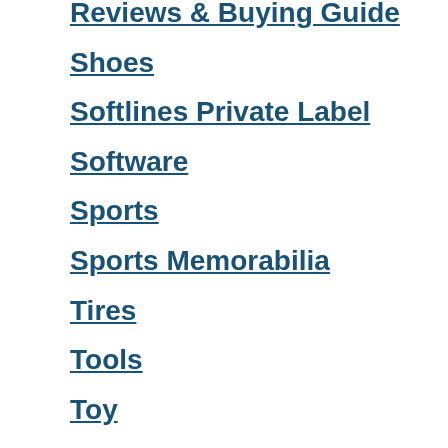Reviews & Buying Guide
Shoes
Softlines Private Label
Software
Sports
Sports Memorabilia
Tires
Tools
Toy
VDO Devices
Video
Video Games